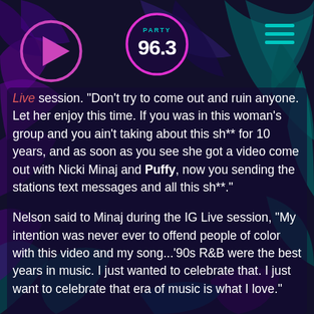[Figure (logo): Party 96.3 radio station logo in pink circle with teal/cyan text]
Live session. "Don't try to come out and ruin anyone. Let her enjoy this time. If you was in this woman's group and you ain't taking about this sh** for 10 years, and as soon as you see she got a video come out with Nicki Minaj and Puffy, now you sending the stations text messages and all this sh**."
Nelson said to Minaj during the IG Live session, "My intention was never ever to offend people of color with this video and my song...'90s R&B were the best years in music. I just wanted to celebrate that. I just want to celebrate that era of music is what I love."
"It's just hard for me because I was in a group with two women of color for nine years and it was never brought up to me up until the last music video." Jesy